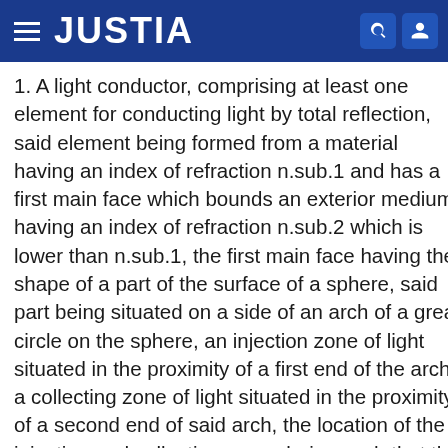JUSTIA
1. A light conductor, comprising at least one element for conducting light by total reflection, said element being formed from a material having an index of refraction n.sub.1 and has a first main face which bounds an exterior medium having an index of refraction n.sub.2 which is lower than n.sub.1, the first main face having the shape of a part of the surface of a sphere, said part being situated on a side of an arch of a great circle on the sphere, an injection zone of light situated in the proximity of a first end of the arch, a collecting zone of light situated in the proximity of a second end of said arch, the location of the injection and collection zones being such that the distance between each of the collection and injection zones and the center of the sphere being at most equal to the radius of the said sphere and at least equal to the product of the radius of the sphere and the sine of a limit angle equal to the